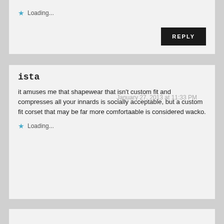Loading...
REPLY
ista
January 27, 2013 at 11:33 PM
it amuses me that shapewear that isn't custom fit and compresses all your innards is socially acceptable, but a custom fit corset that may be far more comfortaable is considered wacko.
Loading...
REPLY